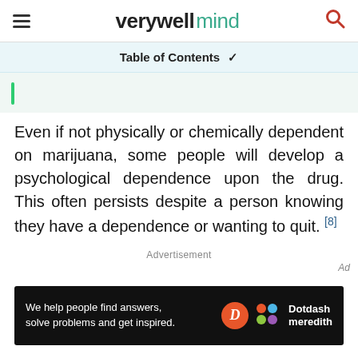verywell mind
Table of Contents
Even if not physically or chemically dependent on marijuana, some people will develop a psychological dependence upon the drug. This often persists despite a person knowing they have a dependence or wanting to quit. [8]
Advertisement
[Figure (other): Dotdash Meredith advertisement banner: 'We help people find answers, solve problems and get inspired.' with Dotdash Meredith logo]